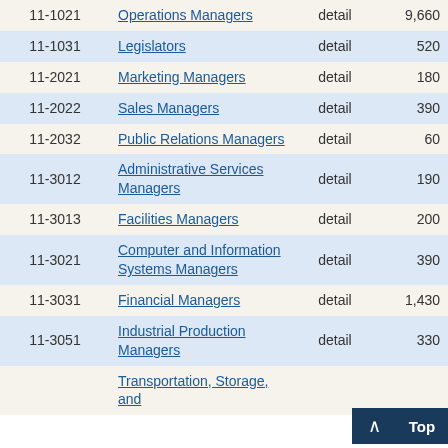| Code | Occupation | Level | Employment | ... |
| --- | --- | --- | --- | --- |
| 11-1021 | Operations Managers | detail | 9,660 | 2... |
| 11-1031 | Legislators | detail | 520 | 17... |
| 11-2021 | Marketing Managers | detail | 180 | 10... |
| 11-2022 | Sales Managers | detail | 390 | 6... |
| 11-2032 | Public Relations Managers | detail | 60 | 8... |
| 11-3012 | Administrative Services Managers | detail | 190 | 12... |
| 11-3013 | Facilities Managers | detail | 200 | 17... |
| 11-3021 | Computer and Information Systems Managers | detail | 390 | 11... |
| 11-3031 | Financial Managers | detail | 1,430 | 6... |
| 11-3051 | Industrial Production Managers | detail | 330 | 6... |
|  | Transportation, Storage, and ... |  |  |  |